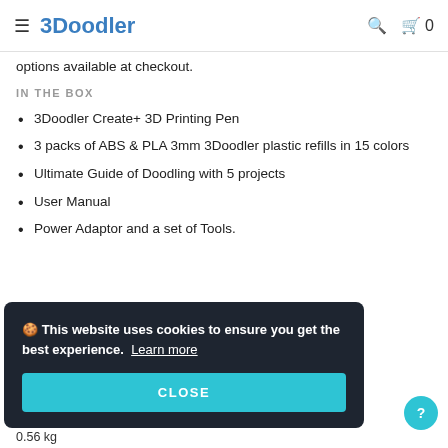3Doodler
options available at checkout.
IN THE BOX
3Doodler Create+ 3D Printing Pen
3 packs of ABS & PLA 3mm 3Doodler plastic refills in 15 colors
Ultimate Guide of Doodling with 5 projects
User Manual
Power Adaptor and a set of Tools.
🍪 This website uses cookies to ensure you get the best experience. Learn more
CLOSE
0.56 kg